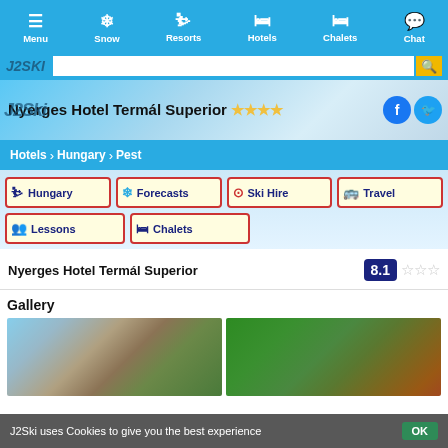Menu | Snow | Resorts | Hotels | Chalets | Chat
Nyerges Hotel Termál Superior ★★★★
Hotels > Hungary > Pest
Hungary
Forecasts
Ski Hire
Travel
Lessons
Chalets
Nyerges Hotel Termál Superior   8.1 ☆☆☆
Gallery
[Figure (photo): Exterior photo of Nyerges Hotel Termál Superior building with blue sky]
[Figure (photo): Photo of hotel garden/nature area with green trees]
J2Ski uses Cookies to give you the best experience   OK